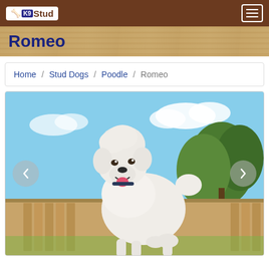K9Stud
Romeo
Home / Stud Dogs / Poodle / Romeo
[Figure (photo): White standard poodle standing in a backyard, groomed with a classic poodle cut, tongue out, smiling at the camera. Blue sky with clouds and green trees in the background. Carousel navigation arrows visible on left and right sides.]